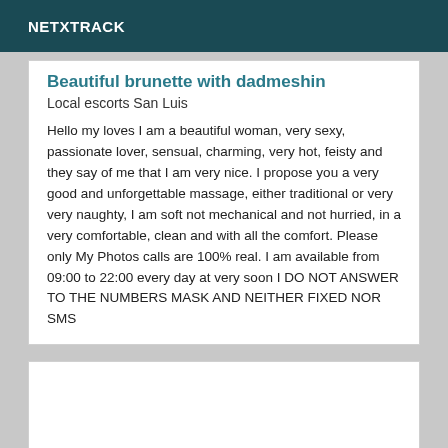NETXTRACK
Beautiful brunette with dadmeshin
Local escorts San Luis
Hello my loves I am a beautiful woman, very sexy, passionate lover, sensual, charming, very hot, feisty and they say of me that I am very nice. I propose you a very good and unforgettable massage, either traditional or very very naughty, I am soft not mechanical and not hurried, in a very comfortable, clean and with all the comfort. Please only My Photos calls are 100% real. I am available from 09:00 to 22:00 every day at very soon I DO NOT ANSWER TO THE NUMBERS MASK AND NEITHER FIXED NOR SMS